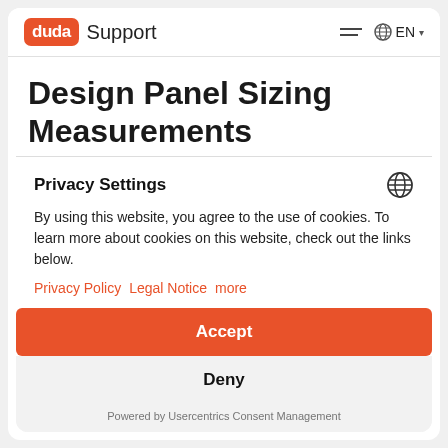duda Support | EN
Design Panel Sizing Measurements
You have multiple sizing measurements in
Privacy Settings
By using this website, you agree to the use of cookies. To learn more about cookies on this website, check out the links below.
Privacy Policy   Legal Notice   more
Accept
Deny
Powered by Usercentrics Consent Management